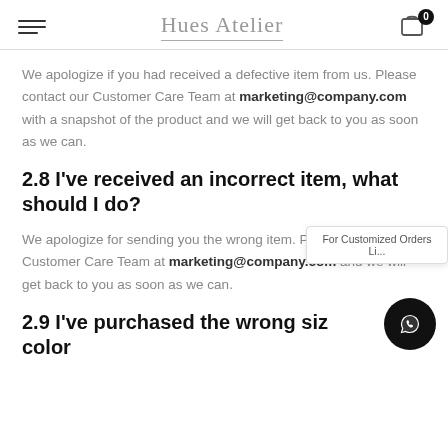Hues Atelier
We apologize if you had received a defective item from us. Please contact our Customer Care Team at marketing@company.com with a snapshot of the product and we will get back to you as soon as we can.
2.8 I've received an incorrect item, what should I do?
We apologize for sending you the wrong item. Please contact our Customer Care Team at marketing@company.com and we will get back to you as soon as we can.
2.9 I've purchased the wrong size color